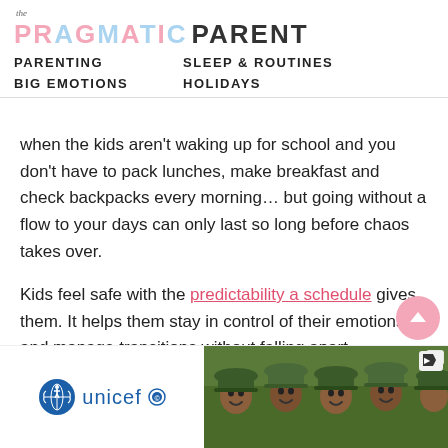The PRAGMATIC PARENT
PARENTING    SLEEP & ROUTINES
BIG EMOTIONS    HOLIDAYS
when the kids aren't waking up for school and you don't have to pack lunches, make breakfast and check backpacks every morning… but going without a flow to your days can only last so long before chaos takes over.
Kids feel safe with the predictability a schedule gives them. It helps them stay in control of their emotions and manage transitions without falling apart.
As a p[arents, you can help your child kn]ext whethe[r...]
[Figure (photo): UNICEF advertisement showing smiling children in green hats]